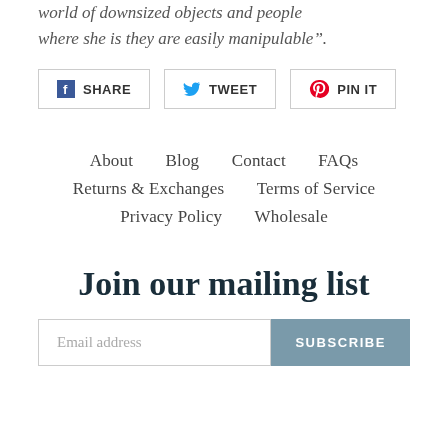world of downsized objects and people where she is they are easily manipulable".
[Figure (other): Social sharing buttons: Facebook SHARE, Twitter TWEET, Pinterest PIN IT]
About   Blog   Contact   FAQs   Returns & Exchanges   Terms of Service   Privacy Policy   Wholesale
Join our mailing list
Email address   SUBSCRIBE